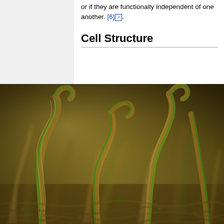or if they are functionally independent of one another. [6].
Cell Structure
[Figure (photo): Microscopic photograph of algae or moss-like plant filaments, showing green and golden-brown fibrous strands rising vertically from a dense mat, photographed at high magnification.]